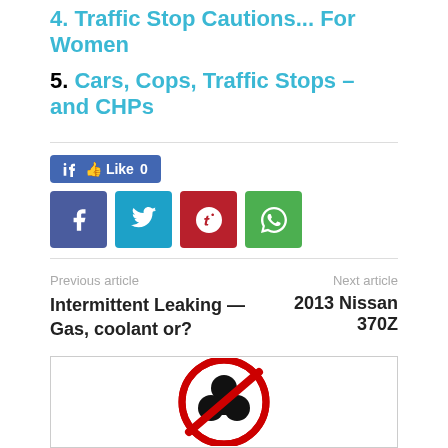4. Traffic Stop Cautions... For Women
5. Cars, Cops, Traffic Stops – and CHPs
[Figure (other): Facebook Like button showing 'Like 0']
[Figure (other): Social sharing buttons: Facebook, Twitter, Pinterest, WhatsApp]
Previous article
Intermittent Leaking — Gas, coolant or?
Next article
2013 Nissan 370Z
[Figure (other): No clover/shamrock prohibition sign — red circle with diagonal line over black clover symbol]